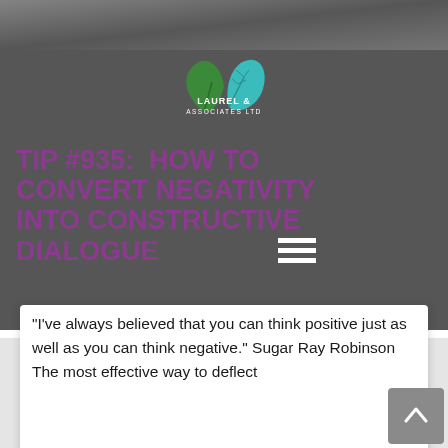[Figure (photo): Dark photograph of people at the top of the page]
[Figure (logo): Laurel & Associates Ltd logo with two green leaf shapes above the text]
TIP #935:  HOW TO CONVERT NEGATIVITY INTO CONSTRUCTIVE DIALOGUE
“I’ve always believed that you can think positive just as well as you can think negative.” Sugar Ray Robinson The most effective way to deflect
READ MORE »
August 8, 2022